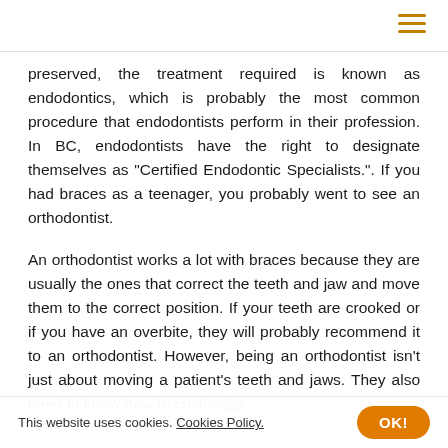[hamburger menu icon]
preserved, the treatment required is known as endodontics, which is probably the most common procedure that endodontists perform in their profession. In BC, endodontists have the right to designate themselves as “Certified Endodontic Specialists.”. If you had braces as a teenager, you probably went to see an orthodontist.
An orthodontist works a lot with braces because they are usually the ones that correct the teeth and jaw and move them to the correct position. If your teeth are crooked or if you have an overbite, they will probably recommend it to an orthodontist. However, being an orthodontist isn’t just about moving a patient’s teeth and jaws. They also need to know how to customize
This website uses cookies. Cookies Policy.  OK!